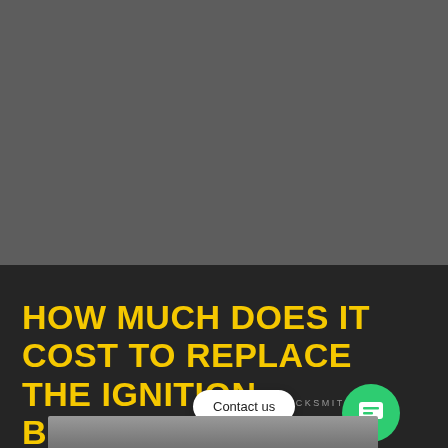[Figure (photo): Dark gray/charcoal background area representing a photo of an ignition barrel or car interior, top portion of the page]
HOW MUCH DOES IT COST TO REPLACE THE IGNITION BARREL?
OAK AUTO LOCKSMITH
[Figure (photo): Close-up photo of car keys or ignition barrel with colored key strips (red and green) visible at the bottom of the page]
Contact us